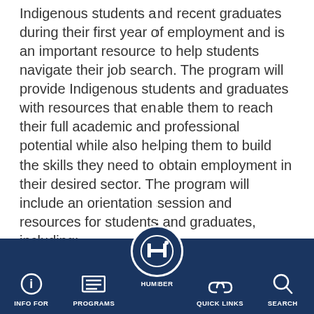Indigenous students and recent graduates during their first year of employment and is an important resource to help students navigate their job search. The program will provide Indigenous students and graduates with resources that enable them to reach their full academic and professional potential while also helping them to build the skills they need to obtain employment in their desired sector. The program will include an orientation session and resources for students and graduates, including:
Identifying potential employment opportunities
Assisting with resume writing, interview preparation and providing networking opportunities
Conducting skills assessments to evaluate and
INFO FOR | PROGRAMS | HUMBER | QUICK LINKS | SEARCH